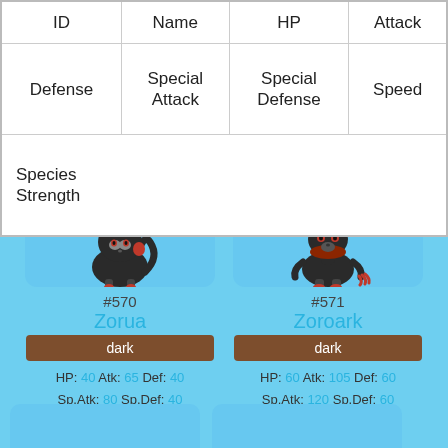| ID | Name | HP | Attack | Defense | Special Attack | Special Defense | Speed | Species Strength |
| --- | --- | --- | --- | --- | --- | --- | --- | --- |
[Figure (illustration): Zorua pokemon illustration - dark fox-like creature with red accents on a light blue background]
#570
Zorua
dark
HP: 40 Atk: 65 Def: 40
Sp.Atk: 80 Sp.Def: 40
Speed: 65
Total: 330
[Figure (illustration): Zoroark pokemon illustration - dark fox-like creature with red accents on a light blue background]
#571
Zoroark
dark
HP: 60 Atk: 105 Def: 60
Sp.Atk: 120 Sp.Def: 60
Speed: 105
Total: 510